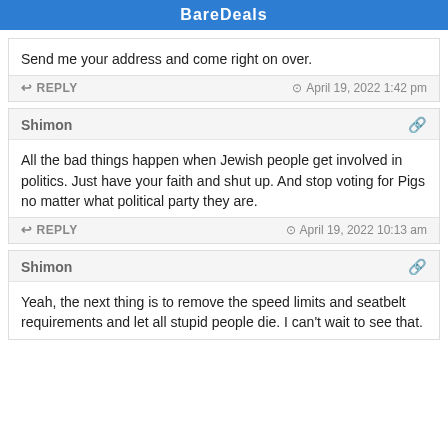BareDeals
Send me your address and come right on over.
REPLY   April 19, 2022 1:42 pm
Shimon
All the bad things happen when Jewish people get involved in politics. Just have your faith and shut up. And stop voting for Pigs no matter what political party they are.
REPLY   April 19, 2022 10:13 am
Shimon
Yeah, the next thing is to remove the speed limits and seatbelt requirements and let all stupid people die. I can't wait to see that.